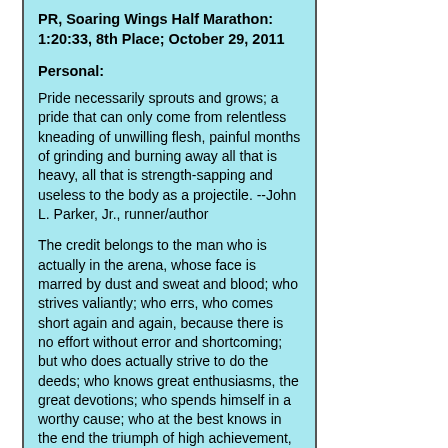PR, Soaring Wings Half Marathon: 1:20:33, 8th Place; October 29, 2011
Personal:
Pride necessarily sprouts and grows; a pride that can only come from relentless kneading of unwilling flesh, painful months of grinding and burning away all that is heavy, all that is strength-sapping and useless to the body as a projectile. --John L. Parker, Jr., runner/author
The credit belongs to the man who is actually in the arena, whose face is marred by dust and sweat and blood; who strives valiantly; who errs, who comes short again and again, because there is no effort without error and shortcoming; but who does actually strive to do the deeds; who knows great enthusiasms, the great devotions; who spends himself in a worthy cause; who at the best knows in the end the triumph of high achievement, and who at the worst, if